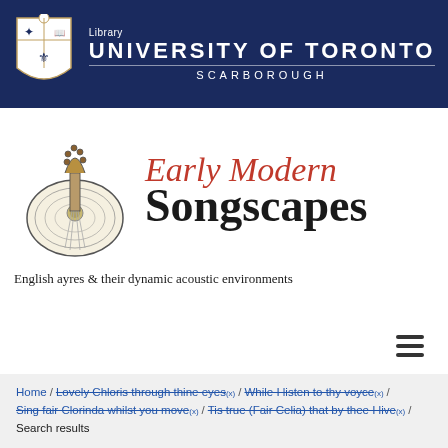[Figure (logo): University of Toronto Scarborough Library banner with shield logo and text on dark navy background]
[Figure (logo): Early Modern Songscapes logo with lute illustration, red italic 'Early Modern' and bold 'Songscapes' text, subtitle 'English ayres & their dynamic acoustic environments']
Home / Lovely Chloris through thine eyes (x) / While I listen to thy voyce (x) / Sing fair Clorinda whilst you move (x) / Tis true (Fair Celia) that by thee I live (x) / Search results